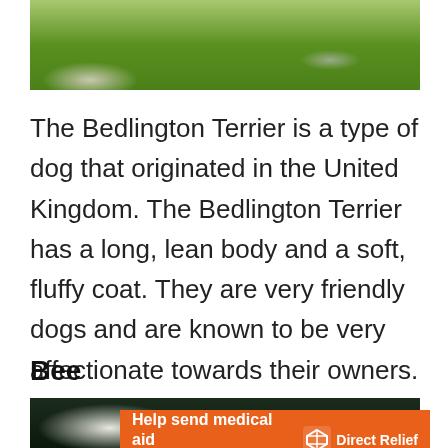[Figure (photo): A dog (Bedlington Terrier) lying on green grass outdoors]
The Bedlington Terrier is a type of dog that originated in the United Kingdom. The Bedlington Terrier has a long, lean body and a soft, fluffy coat. They are very friendly dogs and are known to be very affectionate towards their owners.
Bee
[Figure (photo): Partial photo of a bee, mostly dark background]
[Figure (other): Advertisement banner: Help send medical aid to Ukraine >> DirectRelief logo]